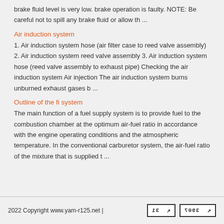brake fluid level is very low. brake operation is faulty. NOTE: Be careful not to spill any brake fluid or allow th ...
Air induction system
1. Air induction system hose (air filter case to reed valve assembly) 2. Air induction system reed valve assembly 3. Air induction system hose (reed valve assembly to exhaust pipe) Checking the air induction system Air injection The air induction system burns unburned exhaust gases b ...
Outline of the fi system
The main function of a fuel supply system is to provide fuel to the combustion chamber at the optimum air-fuel ratio in accordance with the engine operating conditions and the atmospheric temperature. In the conventional carburetor system, the air-fuel ratio of the mixture that is supplied t ...
2022 Copyright www.yam-r125.net | 31 ↗  3907 ↗